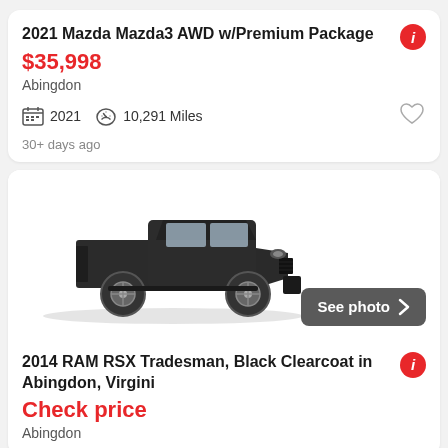2021 Mazda Mazda3 AWD w/Premium Package
$35,998
Abingdon
2021   10,291 Miles
30+ days ago
[Figure (photo): Black RAM pickup truck (2014 RAM RSX Tradesman) shown from front-left angle with a 'See photo >' button overlay]
2014 RAM RSX Tradesman, Black Clearcoat in Abingdon, Virgini
Check price
Abingdon